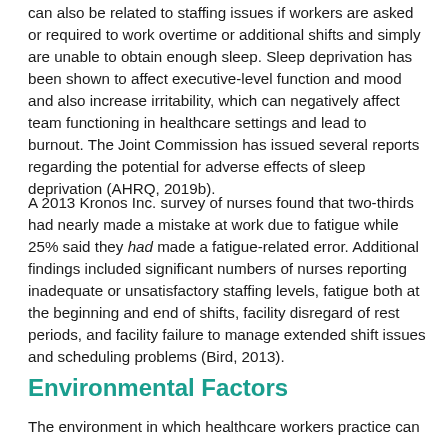can also be related to staffing issues if workers are asked or required to work overtime or additional shifts and simply are unable to obtain enough sleep. Sleep deprivation has been shown to affect executive-level function and mood and also increase irritability, which can negatively affect team functioning in healthcare settings and lead to burnout. The Joint Commission has issued several reports regarding the potential for adverse effects of sleep deprivation (AHRQ, 2019b).
A 2013 Kronos Inc. survey of nurses found that two-thirds had nearly made a mistake at work due to fatigue while 25% said they had made a fatigue-related error. Additional findings included significant numbers of nurses reporting inadequate or unsatisfactory staffing levels, fatigue both at the beginning and end of shifts, facility disregard of rest periods, and facility failure to manage extended shift issues and scheduling problems (Bird, 2013).
Environmental Factors
The environment in which healthcare workers practice can